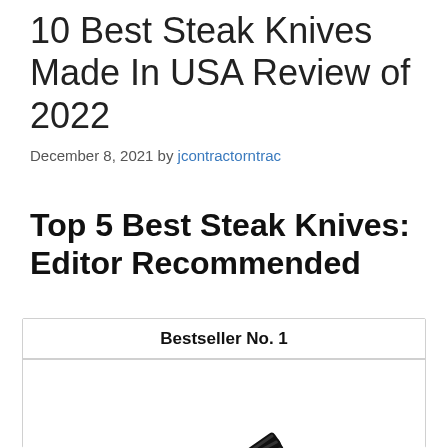10 Best Steak Knives Made In USA Review of 2022
December 8, 2021 by jcontractorntrac
Top 5 Best Steak Knives: Editor Recommended
Bestseller No. 1
[Figure (photo): A set of black steak knives fanned out, viewed from above at an angle, showing multiple knives stacked diagonally with black handles and black blades.]